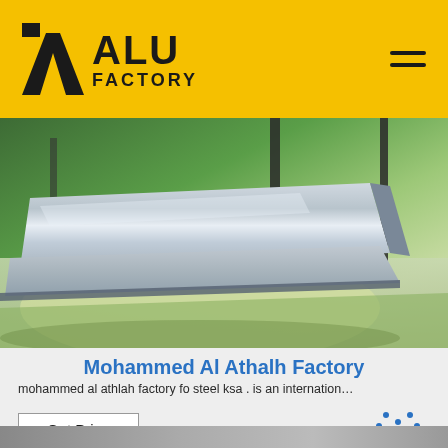ALU FACTORY
[Figure (photo): Metal aluminum/steel sheets stacked on a green surface in a factory setting]
Mohammed Al Athalh Factory
mohammed al athlah factory fo steel ksa . is an internation…
[Figure (other): Get Price button and TOP logo icon]
[Figure (photo): Partial view of another product photo at the bottom of the page]